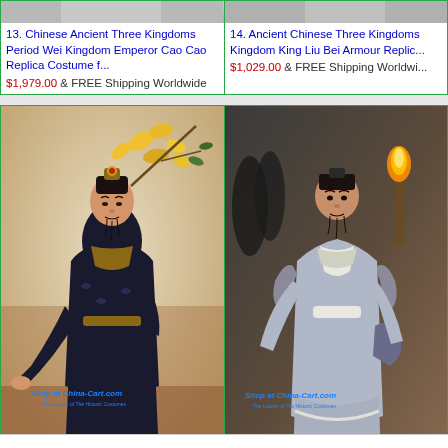[Figure (photo): Top portion of product image 13 - Chinese costume]
[Figure (photo): Top portion of product image 14 - Chinese armour]
13. Chinese Ancient Three Kingdoms Period Wei Kingdom Emperor Cao Cao Replica Costume f...
$1,979.00 & FREE Shipping Worldwide
14. Ancient Chinese Three Kingdoms Kingdom King Liu Bei Armour Replic...
$1,029.00 & FREE Shipping Worldwide
[Figure (photo): Chinese Ancient Three Kingdoms costume - man in dark ornate robe with golden crown and floral background, Shop at China-Cart.com watermark]
[Figure (photo): Ancient Chinese Three Kingdoms armour - man in light blue/grey robe holding item, dark background with fire, Shop at China-Cart.com watermark]
bottom text strip partially visible